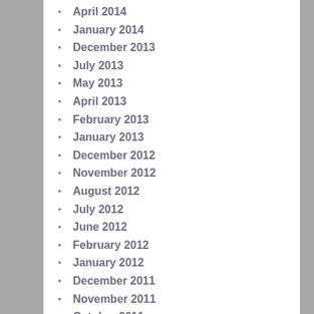April 2014
January 2014
December 2013
July 2013
May 2013
April 2013
February 2013
January 2013
December 2012
November 2012
August 2012
July 2012
June 2012
February 2012
January 2012
December 2011
November 2011
October 2011
September 2011
August 2011